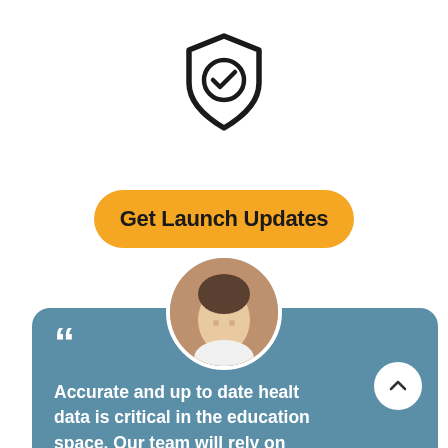[Figure (illustration): Shield icon with checkmark inside, black outline on white background]
[Figure (other): Golden rounded-rectangle button labeled 'Get Launch Updates']
[Figure (photo): Circular cropped photo of a smiling man in a white shirt against a brick wall background, overlapping a teal testimonial card]
Accurate and up to date health data is critical in the education space. Our team will rely on WellUp to provide us critical information on our students as we return to school. Now more than ever level up your health